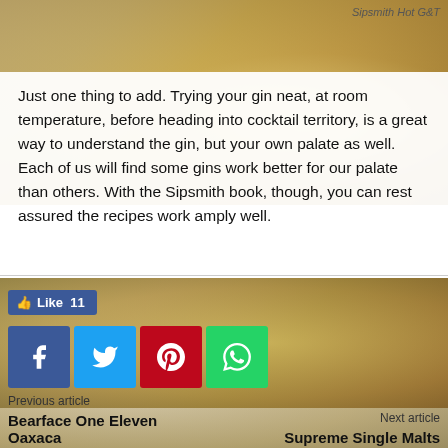Sipsmith Hot G&T
Just one thing to add. Trying your gin neat, at room temperature, before heading into cocktail territory, is a great way to understand the gin, but your own palate as well. Each of us will find some gins work better for our palate than others. With the Sipsmith book, though, you can rest assured the recipes work amply well.
[Figure (screenshot): Social sharing buttons: Facebook Like button showing 11 likes, and four share buttons for Facebook, Twitter, Pinterest, and WhatsApp]
[Figure (photo): Blurred image of what appears to be a cocktail glass or bowl viewed from above]
Previous article
Bearface One Eleven Oaxaca
Next article
Supreme Single Malts